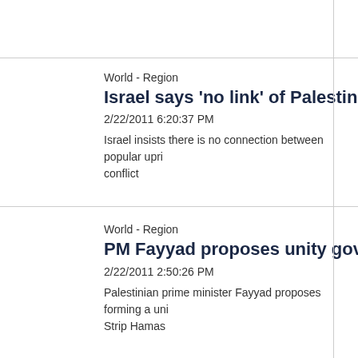World - Region
Israel says 'no link' of Palestinian issue in A
2/22/2011 6:20:37 PM
Israel insists there is no connection between popular upri conflict
World - Region
PM Fayyad proposes unity government wi
2/22/2011 2:50:26 PM
Palestinian prime minister Fayyad proposes forming a uni Strip Hamas
First << Prev 91 92 93 94 95 96 97 Next